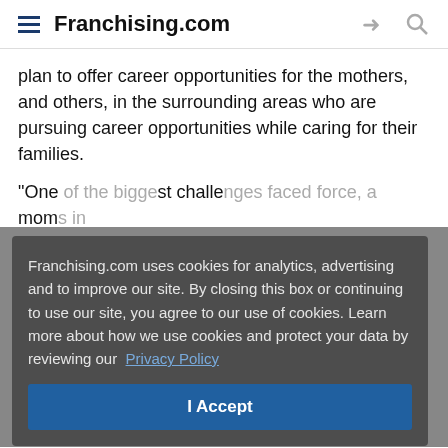Franchising.com
plan to offer career opportunities for the mothers, and others, in the surrounding areas who are pursuing career opportunities while caring for their families.
"One of the biggest challenges faced by parents, and moms in particular, is... Maggie... found... devoted... yearning... time... part-time... opportunities... job - ... opportunities...
[Figure (screenshot): Cookie consent modal overlay with dark background. Text reads: 'Franchising.com uses cookies for analytics, advertising and to improve our site. By closing this box or continuing to use our site, you agree to our use of cookies. Learn more about how we use cookies and protect your data by reviewing our Privacy Policy'. Blue 'I Accept' button below.]
"We are honored to have Maggie and Reed join the Caring